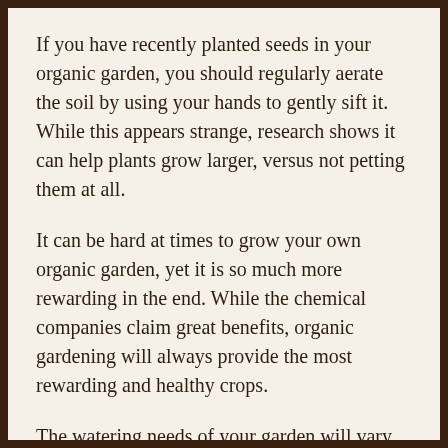If you have recently planted seeds in your organic garden, you should regularly aerate the soil by using your hands to gently sift it. While this appears strange, research shows it can help plants grow larger, versus not petting them at all.
It can be hard at times to grow your own organic garden, yet it is so much more rewarding in the end. While the chemical companies claim great benefits, organic gardening will always provide the most rewarding and healthy crops.
The watering needs of your garden will vary considerably, depending on your climate zone and the time of year. You should consider water quality and soil type when watering your plants. Try to water your plants at the same time every day, as time of day also affects how much water they need.